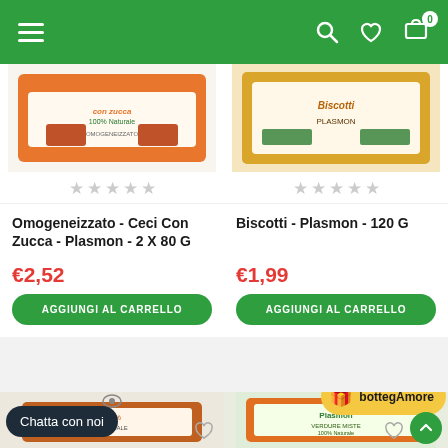Navigation bar with hamburger menu, search, wishlist, and cart (0 items)
[Figure (photo): Product image: Omogeneizzato Ceci Con Zucca Plasmon 2x80g]
[Figure (photo): Product image: Biscotti Plasmon 120g]
Omogeneizzato - Ceci Con Zucca - Plasmon - 2 X 80 G
€2,52
AGGIUNGI AL CARRELLO
Biscotti - Plasmon - 120 G
€1,99
AGGIUNGI AL CARRELLO
[Figure (photo): Bottom left product image partially visible]
[Figure (photo): Bottom right product: Plasmon Verdure Miste 100% Naturale]
Chatta con noi
bottegAmore